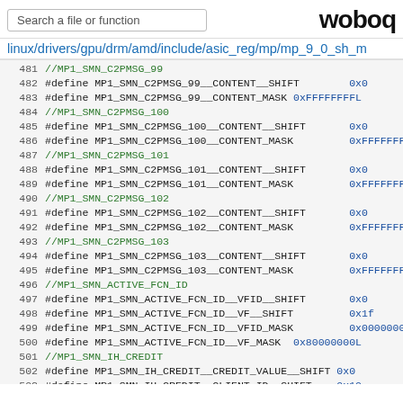Search a file or function | woboq
linux/drivers/gpu/drm/amd/include/asic_reg/mp/mp_9_0_sh_m
481  //MP1_SMN_C2PMSG_99
482  #define MP1_SMN_C2PMSG_99__CONTENT__SHIFT   0x0
483  #define MP1_SMN_C2PMSG_99__CONTENT_MASK 0xFFFFFFFFL
484  //MP1_SMN_C2PMSG_100
485  #define MP1_SMN_C2PMSG_100__CONTENT__SHIFT   0x0
486  #define MP1_SMN_C2PMSG_100__CONTENT_MASK     0xFFFFFFFFL
487  //MP1_SMN_C2PMSG_101
488  #define MP1_SMN_C2PMSG_101__CONTENT__SHIFT   0x0
489  #define MP1_SMN_C2PMSG_101__CONTENT_MASK     0xFFFFFFFFL
490  //MP1_SMN_C2PMSG_102
491  #define MP1_SMN_C2PMSG_102__CONTENT__SHIFT   0x0
492  #define MP1_SMN_C2PMSG_102__CONTENT_MASK     0xFFFFFFFFL
493  //MP1_SMN_C2PMSG_103
494  #define MP1_SMN_C2PMSG_103__CONTENT__SHIFT   0x0
495  #define MP1_SMN_C2PMSG_103__CONTENT_MASK     0xFFFFFFFFL
496  //MP1_SMN_ACTIVE_FCN_ID
497  #define MP1_SMN_ACTIVE_FCN_ID__VFID__SHIFT   0x0
498  #define MP1_SMN_ACTIVE_FCN_ID__VF__SHIFT     0x1f
499  #define MP1_SMN_ACTIVE_FCN_ID__VFID_MASK     0x0000000FL
500  #define MP1_SMN_ACTIVE_FCN_ID__VF_MASK  0x80000000L
501  //MP1_SMN_IH_CREDIT
502  #define MP1_SMN_IH_CREDIT__CREDIT_VALUE__SHIFT  0x0
503  #define MP1_SMN_IH_CREDIT__CLIENT_ID__SHIFT  0x10
504  #define MP1_SMN_IH_CREDIT__CREDIT_VALUE_MASK  0x00000003L
505  #define MP1_SMN_IH_CREDIT__CLIENT_ID_MASK  0x00FF0000L
506  //MP1_SMN_IH_SW_INT